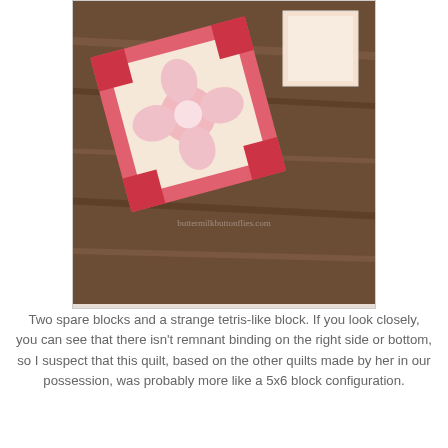[Figure (photo): Photo of two quilt blocks on a wood floor — one showing a pink/red floral applique pattern with a pink border, one plain — photographed from above on dark wood flooring. Watermark reads buttermilkbuttonflies.com]
Two spare blocks and a strange tetris-like block. If you look closely, you can see that there isn't remnant binding on the right side or bottom, so I suspect that this quilt, based on the other quilts made by her in our possession, was probably more like a 5x6 block configuration.
And here you can see where my sister-in-law had cut along the seams. *wince*.
[Figure (photo): Photo of worn/cut quilt fabric showing seam lines cut through, pale pink and yellow-cream patchwork squares on a wood surface, with raw fraying edges visible.]